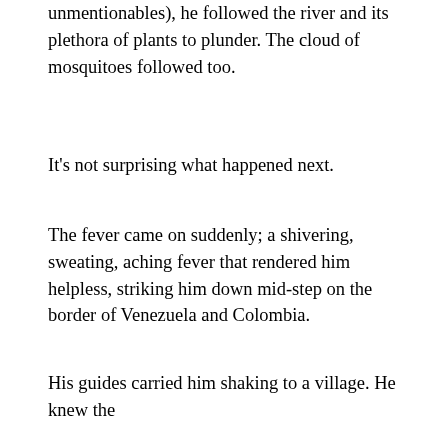unmentionables), he followed the river and its plethora of plants to plunder. The cloud of mosquitoes followed too.
It's not surprising what happened next.
The fever came on suddenly; a shivering, sweating, aching fever that rendered him helpless, striking him down mid-step on the border of Venezuela and Colombia.
His guides carried him shaking to a village. He knew the symptoms, hell he'd seen it before, but he denied his own diagnosis. Though he had the cure in his pocket, quinine from the bark from the Cinchona tree, he was loath to take its bitter rescue. He didn't want it to be malaria.
Like a pot of swamp water on the boil, was his brain, his temperature climbing like lianas, curling like fern fronds, perching like epiphytic orchids. Images sprung